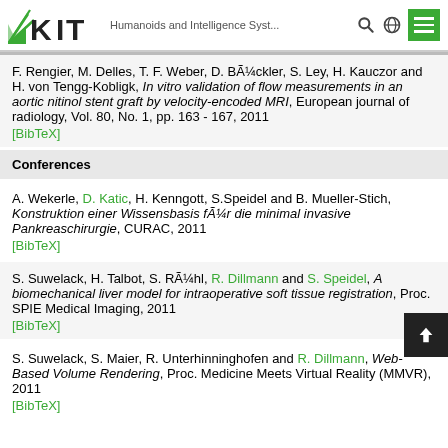KIT — Humanoids and Intelligence Syst...
F. Rengier, M. Delles, T. F. Weber, D. BÃ¼ckler, S. Ley, H. Kauczor and H. von Tengg-Kobligk, In vitro validation of flow measurements in an aortic nitinol stent graft by velocity-encoded MRI, European journal of radiology, Vol. 80, No. 1, pp. 163 - 167, 2011
[BibTeX]
Conferences
A. Wekerle, D. Katic, H. Kenngott, S.Speidel and B. Mueller-Stich, Konstruktion einer Wissensbasis fÃ¼r die minimal invasive Pankreaschirurgie, CURAC, 2011
[BibTeX]
S. Suwelack, H. Talbot, S. RÃ¼hl, R. Dillmann and S. Speidel, A biomechanical liver model for intraoperative soft tissue registration, Proc. SPIE Medical Imaging, 2011
[BibTeX]
S. Suwelack, S. Maier, R. Unterhinninghofen and R. Dillmann, Web-Based Volume Rendering, Proc. Medicine Meets Virtual Reality (MMVR), 2011
[BibTeX]